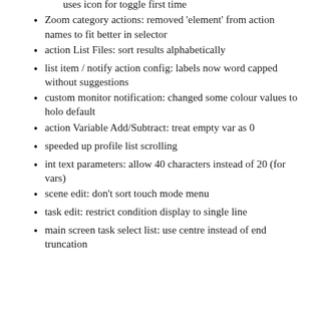uses icon for toggle first time
Zoom category actions: removed 'element' from action names to fit better in selector
action List Files: sort results alphabetically
list item / notify action config: labels now word capped without suggestions
custom monitor notification: changed some colour values to holo default
action Variable Add/Subtract: treat empty var as 0
speeded up profile list scrolling
int text parameters: allow 40 characters instead of 20 (for vars)
scene edit: don't sort touch mode menu
task edit: restrict condition display to single line
main screen task select list: use centre instead of end truncation